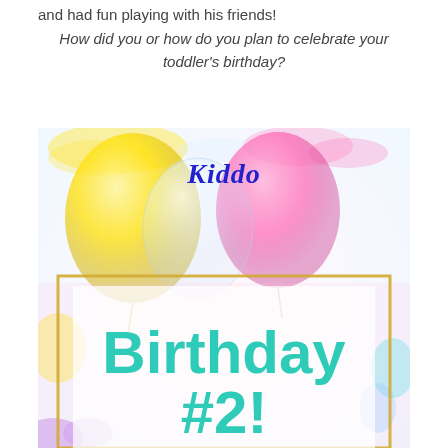and had fun playing with his friends!
How did you or how do you plan to celebrate your toddler's birthday?
[Figure (illustration): Colorful birthday-themed image with balloons in yellow, pink, and clear/white tones. Features the word 'Kiddo' in blue italic font at the top, and 'Birthday #2!' in large teal/turquoise bold font in the center-bottom area, set inside a gold-bordered white translucent frame over a colorful watercolor balloon background.]